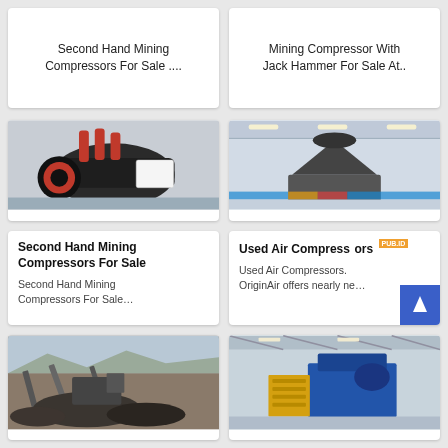Second Hand Mining Compressors For Sale ....
Mining Compressor With Jack Hammer For Sale At..
[Figure (photo): Close-up of industrial mining equipment parts with black cylindrical components and red hydraulic cylinders in a factory setting]
[Figure (photo): Large industrial cone crusher or processing machine in a spacious factory hall with bright lighting]
Second Hand Mining Compressors For Sale

Second Hand Mining Compressors For Sale...
Used Air Compressors

Used Air Compressors. OriginAir offers nearly ne...
[Figure (photo): Outdoor quarry or mining operation with conveyor belts and crushed stone aggregate piles]
[Figure (photo): Industrial factory interior with blue and yellow machinery equipment on a platform with stairs]